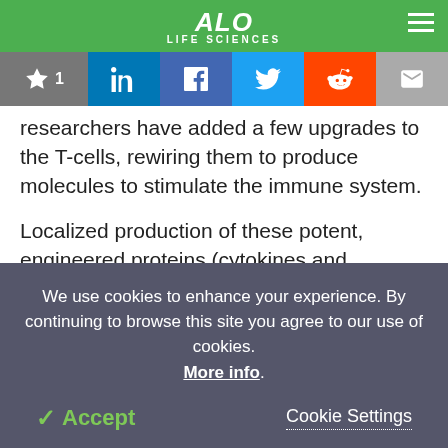ALO LIFE SCIENCES
researchers have added a few upgrades to the T-cells, rewiring them to produce molecules to stimulate the immune system.
Localized production of these potent, engineered proteins (cytokines and Bispecific T-cell Engagers) has to be controlled precisely.
"These cancer-fighting proteins are really good at
We use cookies to enhance your experience. By continuing to browse this site you agree to our use of cookies. More info.
✓ Accept   Cookie Settings